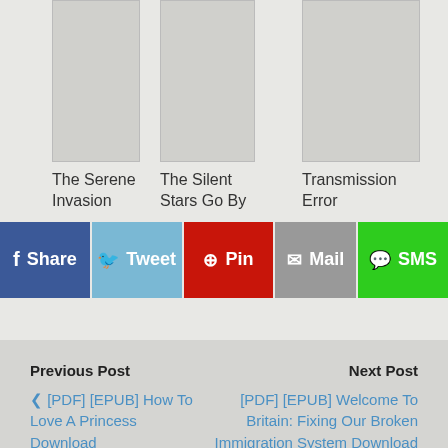The Serene Invasion
The Silent Stars Go By
Transmission Error
f Share
Tweet
Pin
Mail
SMS
Previous Post
[PDF] [EPUB] How To Love A Princess Download
Next Post
[PDF] [EPUB] Welcome To Britain: Fixing Our Broken Immigration System Download